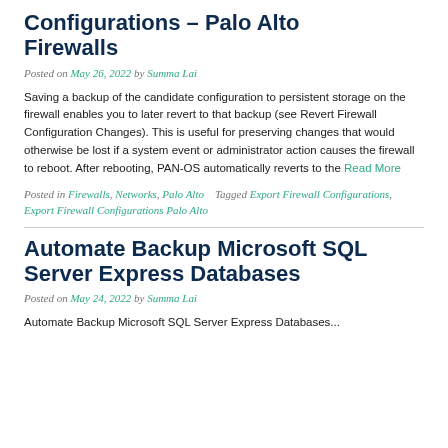Configurations – Palo Alto Firewalls
Posted on May 26, 2022 by Summa Lai
Saving a backup of the candidate configuration to persistent storage on the firewall enables you to later revert to that backup (see Revert Firewall Configuration Changes). This is useful for preserving changes that would otherwise be lost if a system event or administrator action causes the firewall to reboot. After rebooting, PAN-OS automatically reverts to the Read More
Posted in Firewalls, Networks, Palo Alto   Tagged Export Firewall Configurations, Export Firewall Configurations Palo Alto
Automate Backup Microsoft SQL Server Express Databases
Posted on May 24, 2022 by Summa Lai
Automate Backup Microsoft SQL Server Express Databases body text...